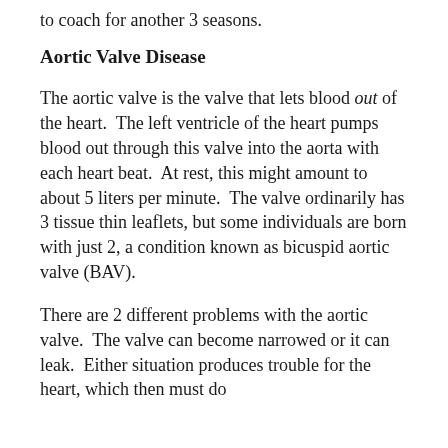to coach for another 3 seasons.
Aortic Valve Disease
The aortic valve is the valve that lets blood out of the heart. The left ventricle of the heart pumps blood out through this valve into the aorta with each heart beat. At rest, this might amount to about 5 liters per minute. The valve ordinarily has 3 tissue thin leaflets, but some individuals are born with just 2, a condition known as bicuspid aortic valve (BAV).
There are 2 different problems with the aortic valve. The valve can become narrowed or it can leak. Either situation produces trouble for the heart, which then must do